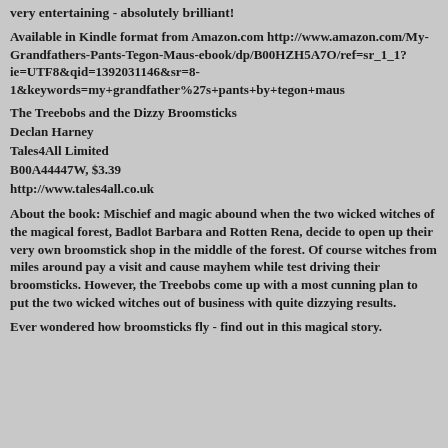very entertaining - absolutely brilliant!
Available in Kindle format from Amazon.com http://www.amazon.com/My-Grandfathers-Pants-Tegon-Maus-ebook/dp/B00HZH5A7O/ref=sr_1_1?ie=UTF8&qid=1392031146&sr=8-1&keywords=my+grandfather%27s+pants+by+tegon+maus
The Treebobs and the Dizzy Broomsticks
Declan Harney
Tales4All Limited
B00A44447W, $3.39
http://www.tales4all.co.uk
About the book: Mischief and magic abound when the two wicked witches of the magical forest, Badlot Barbara and Rotten Rena, decide to open up their very own broomstick shop in the middle of the forest. Of course witches from miles around pay a visit and cause mayhem while test driving their broomsticks. However, the Treebobs come up with a most cunning plan to put the two wicked witches out of business with quite dizzying results.
Ever wondered how broomsticks fly - find out in this magical story.